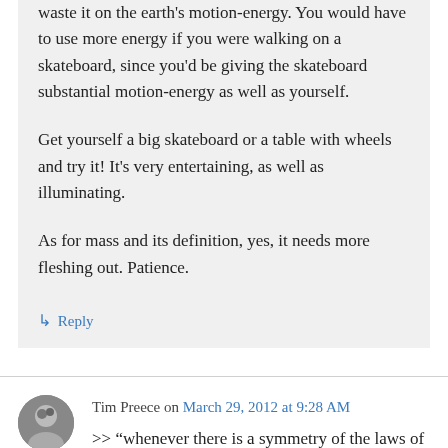waste it on the earth's motion-energy. You would have to use more energy if you were walking on a skateboard, since you'd be giving the skateboard substantial motion-energy as well as yourself.

Get yourself a big skateboard or a table with wheels and try it! It's very entertaining, as well as illuminating.

As for mass and its definition, yes, it needs more fleshing out. Patience.
↳ Reply
Tim Preece on March 29, 2012 at 9:28 AM
>> "whenever there is a symmetry of the laws of